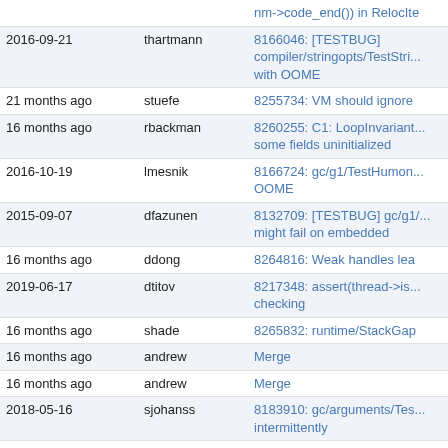| Date | User | Description |
| --- | --- | --- |
|  |  | nm->code_end()) in RelocIte |
| 2016-09-21 | thartmann | 8166046: [TESTBUG] compiler/stringopts/TestStr... with OOME |
| 21 months ago | stuefe | 8255734: VM should ignore |
| 16 months ago | rbackman | 8260255: C1: LoopInvariant... some fields uninitialized |
| 2016-10-19 | lmesnik | 8166724: gc/g1/TestHumon... OOME |
| 2015-09-07 | dfazunen | 8132709: [TESTBUG] gc/g1/... might fail on embedded |
| 16 months ago | ddong | 8264816: Weak handles lea |
| 2019-06-17 | dtitov | 8217348: assert(thread->is... checking |
| 16 months ago | shade | 8265832: runtime/StackGap |
| 16 months ago | andrew | Merge |
| 16 months ago | andrew | Merge |
| 2018-05-16 | sjohanss | 8183910: gc/arguments/Tes... intermittently |
| 2014-12-10 | iignatyev | 8064909: FragmentMetaspa |
| 2014-12-05 | cjplummer | 8066508: JTReg tests timeo... JPRT |
| 2018-08-28 | ghaug | 8209996: [PPC64] Fix JFR pr |
| 17 months ago | shade | 8263504: Some OutputMach |
| 19 months ago | fyang | 8260029: aarch64: fix typo |
| 16 months ago | andrew | Merge |
| 2019-10-24 | mdoerr | 8231949: [PPC64, s390]: Ma |